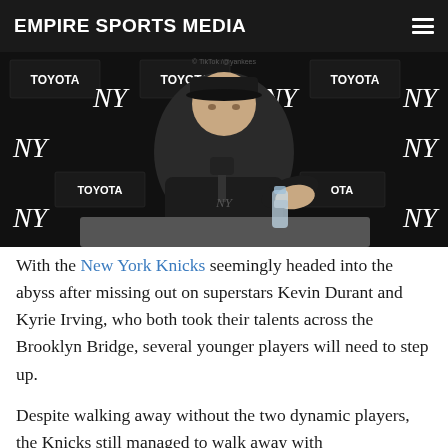EMPIRE SPORTS MEDIA
[Figure (photo): A man in a New York Yankees cap and dark jacket sits at a press conference table with a microphone and water bottle, with a Yankees/Toyota branded backdrop behind him.]
With the New York Knicks seemingly headed into the abyss after missing out on superstars Kevin Durant and Kyrie Irving, who both took their talents across the Brooklyn Bridge, several younger players will need to step up.
Despite walking away without the two dynamic players, the Knicks still managed to walk away with